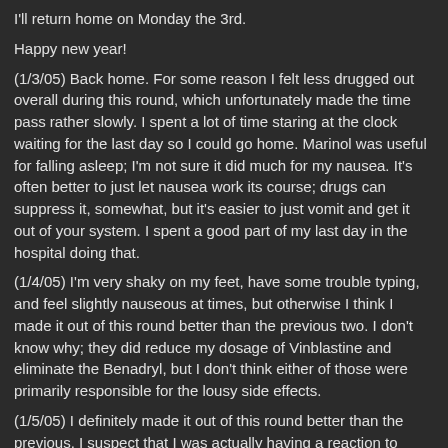I'll return home on Monday the 3rd.
Happy new year!
(1/3/05) Back home. For some reason I felt less drugged out overall during this round, which unfortunately made the time pass rather slowly. I spent a lot of time staring at the clock waiting for the last day so I could go home. Marinol was useful for falling asleep; I'm not sure it did much for my nausea. It's often better to just let nausea work its course; drugs can suppress it, somewhat, but it's easier to just vomit and get it out of your system. I spent a good part of my last day in the hospital doing that.
(1/4/05) I'm very shaky on my feet, have some trouble typing, and feel slightly nauseous at times, but otherwise I think I made it out of this round better than the previous two. I don't know why; they did reduce my dosage of Vinblastine and eliminate the Benadryl, but I don't think either of those were primarily responsible for the lousy side effects.
(1/5/05) I definitely made it out of this round better than the previous. I suspect that I was actually having a reaction to Benadryl, which we eliminated this time around. I feel much less nauseous and more energetic.